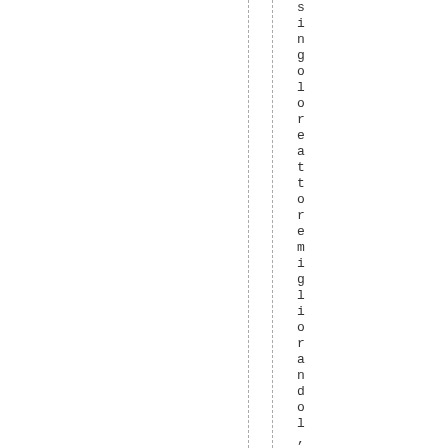singoloreattoremigliorandol, uni